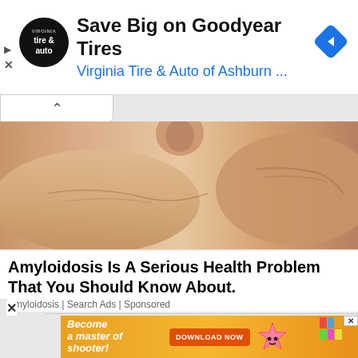[Figure (screenshot): Advertisement banner for Virginia Tire & Auto of Ashburn showing Goodyear Tires promotion with tire-and-auto logo, navigation arrow icon, play and close buttons]
[Figure (photo): Close-up medical photo of human arm/leg skin showing veins, possibly illustrating amyloidosis symptoms]
Amyloidosis Is A Serious Health Problem That You Should Know About.
Amyloidosis | Search Ads | Sponsored
[Figure (screenshot): Advertisement for a mobile shooter game with orange background, text 'Become a master of shooter!' with DOWNLOAD NOW button and pink star character]